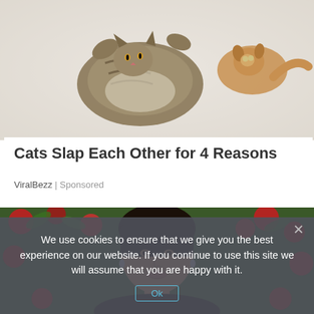[Figure (photo): Two cats in snow — one tabby cat rolling on its back, another orange cat in background]
Cats Slap Each Other for 4 Reasons
ViralBezz | Sponsored
[Figure (photo): Woman with dark hair smiling in front of a floral background with red roses and green foliage]
We use cookies to ensure that we give you the best experience on our website. If you continue to use this site we will assume that you are happy with it.